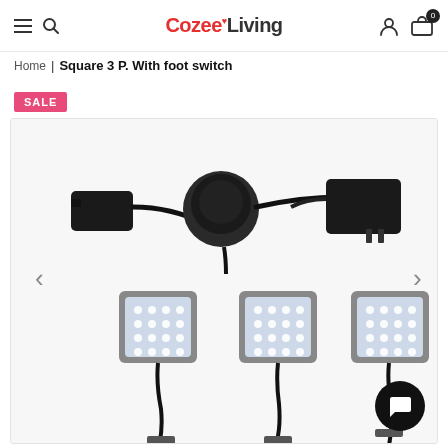CozeeLiving navigation bar with hamburger menu, search, logo, account, and cart icons
Home | Square 3 P. With foot switch
SALE
[Figure (photo): Product photo showing three square LED under-cabinet lights with cables, a foot switch controller (round black disc), and two power adapters on a white background]